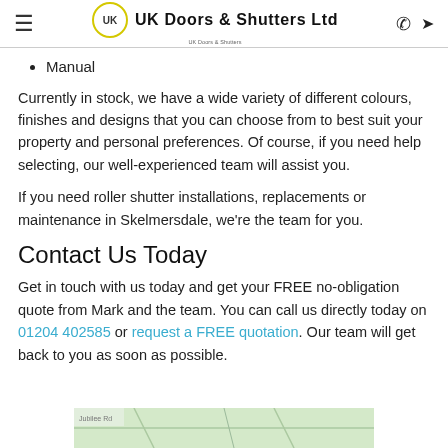≡  UK Doors & Shutters Ltd  ✆  ➤
Manual
Currently in stock, we have a wide variety of different colours, finishes and designs that you can choose from to best suit your property and personal preferences. Of course, if you need help selecting, our well-experienced team will assist you.
If you need roller shutter installations, replacements or maintenance in Skelmersdale, we're the team for you.
Contact Us Today
Get in touch with us today and get your FREE no-obligation quote from Mark and the team. You can call us directly today on 01204 402585 or request a FREE quotation. Our team will get back to you as soon as possible.
[Figure (map): Partial map view at bottom of page]